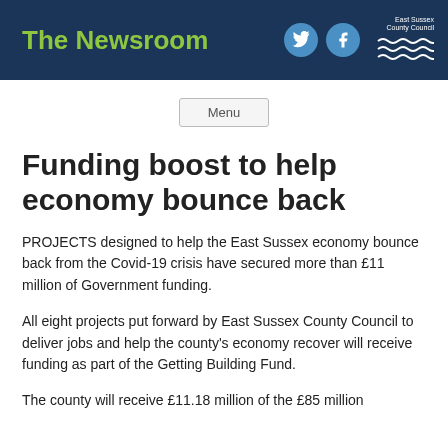The Newsroom
Menu
Funding boost to help economy bounce back
PROJECTS designed to help the East Sussex economy bounce back from the Covid-19 crisis have secured more than £11 million of Government funding.
All eight projects put forward by East Sussex County Council to deliver jobs and help the county's economy recover will receive funding as part of the Getting Building Fund.
The county will receive £11.18 million of the £85 million